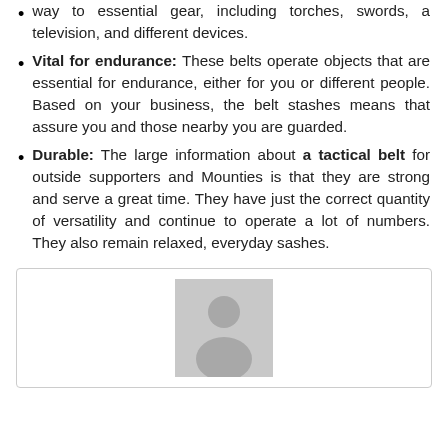way to essential gear, including torches, swords, a television, and different devices.
Vital for endurance: These belts operate objects that are essential for endurance, either for you or different people. Based on your business, the belt stashes means that assure you and those nearby you are guarded.
Durable: The large information about a tactical belt for outside supporters and Mounties is that they are strong and serve a great time. They have just the correct quantity of versatility and continue to operate a lot of numbers. They also remain relaxed, everyday sashes.
[Figure (photo): A placeholder profile image showing a generic person silhouette icon in gray on a light gray background, inside a bordered box.]